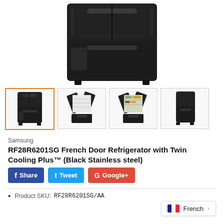[Figure (photo): Samsung RF28R6201SG French Door Refrigerator in Black Stainless Steel - main product image showing front view of closed refrigerator]
[Figure (photo): Thumbnail 1: Front view of closed black stainless steel French door refrigerator (selected/active)]
[Figure (photo): Thumbnail 2: Front view with French doors open showing interior shelves]
[Figure (photo): Thumbnail 3: Front view with doors open showing full interior with food]
[Figure (photo): Thumbnail 4: Side/angle view of closed black stainless steel refrigerator]
Samsung
RF28R6201SG French Door Refrigerator with Twin Cooling Plus™ (Black Stainless steel)
Product SKU:   RF28R6201SG/AA